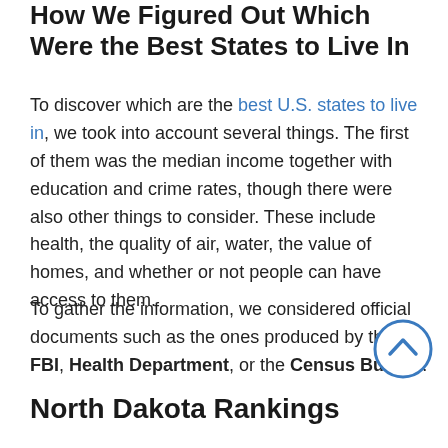How We Figured Out Which Were the Best States to Live In
To discover which are the best U.S. states to live in, we took into account several things. The first of them was the median income together with education and crime rates, though there were also other things to consider. These include health, the quality of air, water, the value of homes, and whether or not people can have access to them.
To gather the information, we considered official documents such as the ones produced by the FBI, Health Department, or the Census Bureau.
[Figure (illustration): A circular scroll-to-top navigation button with a blue border and upward-pointing chevron arrow.]
North Dakota Rankings